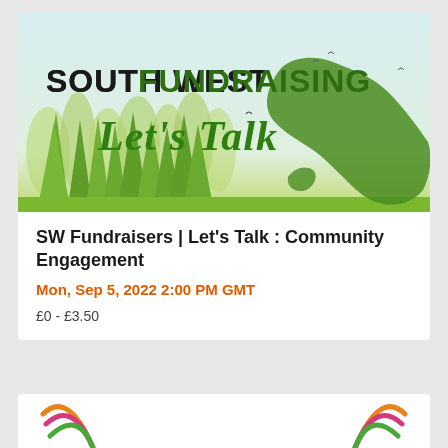[Figure (illustration): South West Fundraising 'Let's Talk' banner with green forest silhouette, trees, and map of South West England on a light blue-green background. Bold text reads 'SOUTH WEST FUNDRAISING' and italic script reads 'Let's Talk'.]
SW Fundraisers | Let's Talk : Community Engagement
Mon, Sep 5, 2022 2:00 PM GMT
£0 - £3.50
[Figure (logo): Partial view of a logo with colorful swirls/arcs in orange, pink, and green on white background, visible at bottom of page.]